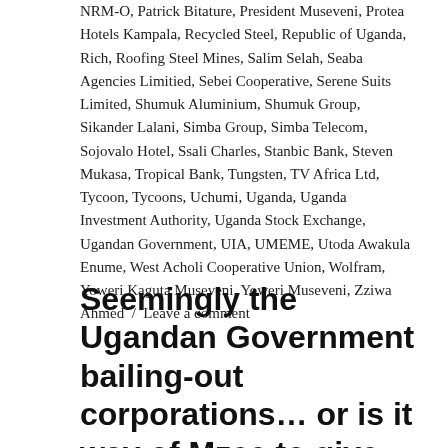NRM-O, Patrick Bitature, President Museveni, Protea Hotels Kampala, Recycled Steel, Republic of Uganda, Rich, Roofing Steel Mines, Salim Selah, Seaba Agencies Limitied, Sebei Cooperative, Serene Suits Limited, Shumuk Aluminium, Shumuk Group, Sikander Lalani, Simba Group, Simba Telecom, Sojovalo Hotel, Ssali Charles, Stanbic Bank, Steven Mukasa, Tropical Bank, Tungsten, TV Africa Ltd, Tycoon, Tycoons, Uchumi, Uganda, Uganda Investment Authority, Uganda Stock Exchange, Ugandan Government, UIA, UMEME, Utoda Awakula Enume, West Acholi Cooperative Union, Wolfram, Yoweri Kaguta Museveni, Yoweri Museveni, Zziwa Ahmed / Leave a comment
Seemingly the Ugandan Government bailing-out corporations… or is it way of Mzee to give monies to his